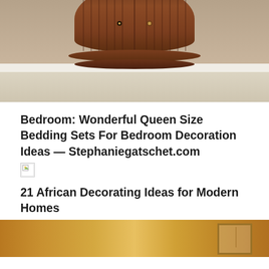[Figure (photo): A round/cylindrical dark brown wooden cabinet with fluted sides, two small door knobs, sitting on a light wood floor against a taupe wall with white baseboard]
Bedroom: Wonderful Queen Size Bedding Sets For Bedroom Decoration Ideas — Stephaniegatschet.com
[Figure (photo): Broken/missing image placeholder (small icon with green leaf)]
21 African Decorating Ideas for Modern Homes
[Figure (photo): Partial view of a room with golden/yellow walls, a framed picture visible on the right side]